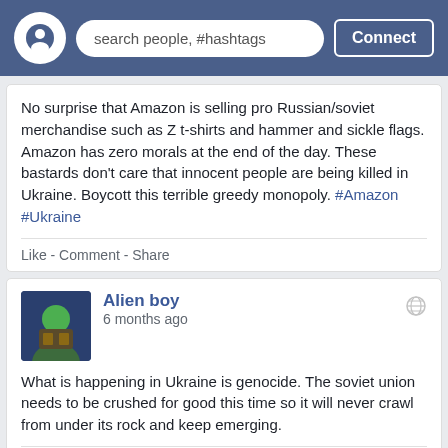search people, #hashtags | Connect
No surprise that Amazon is selling pro Russian/soviet merchandise such as Z t-shirts and hammer and sickle flags. Amazon has zero morals at the end of the day. These bastards don't care that innocent people are being killed in Ukraine. Boycott this terrible greedy monopoly. #Amazon #Ukraine
Like - Comment - Share
Alien boy
6 months ago
What is happening in Ukraine is genocide. The soviet union needs to be crushed for good this time so it will never crawl from under its rock and keep emerging.
Like - Comment - Share
Alien boy
6 months ago
Pakistan is the latest cesspit to declare that it will be helping Russia. Any country that supports Russia and its genocide needs